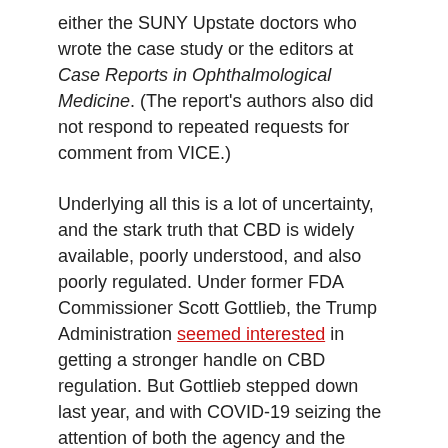either the SUNY Upstate doctors who wrote the case study or the editors at Case Reports in Ophthalmological Medicine. (The report's authors also did not respond to repeated requests for comment from VICE.)
Underlying all this is a lot of uncertainty, and the stark truth that CBD is widely available, poorly understood, and also poorly regulated. Under former FDA Commissioner Scott Gottlieb, the Trump Administration seemed interested in getting a stronger handle on CBD regulation. But Gottlieb stepped down last year, and with COVID-19 seizing the attention of both the agency and the public, the nature of the industry seems unlikely to change anytime soon.
It's true that a woman did die after taking CBD oil, but that doesn't mean that CBD killed her. CBD is safe for the vast majority of people, but that doesn't mean it's safe for everyone. We simply don't know enough about how CBD interacts with other drugs.